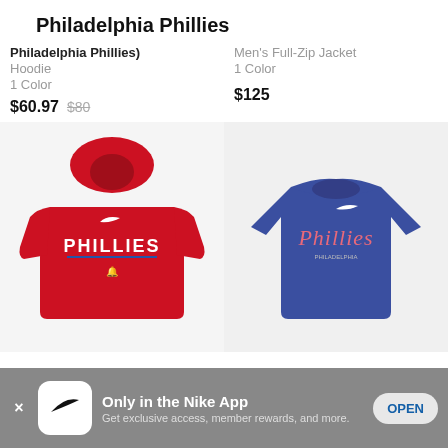Philadelphia Phillies
Philadelphia Phillies) Hoodie
1 Color
$60.97 $80
Men's Full-Zip Jacket
1 Color
$125
[Figure (photo): Red Nike Philadelphia Phillies hoodie sweatshirt]
[Figure (photo): Blue Nike Philadelphia Phillies t-shirt]
Only in the Nike App
Get exclusive access, member rewards, and more.